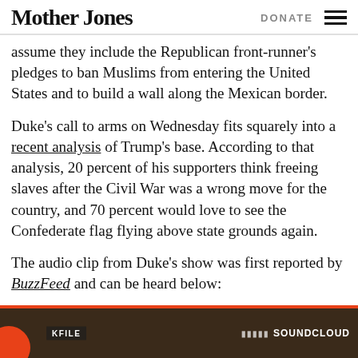Mother Jones | DONATE
assume they include the Republican front-runner's pledges to ban Muslims from entering the United States and to build a wall along the Mexican border.
Duke's call to arms on Wednesday fits squarely into a recent analysis of Trump's base. According to that analysis, 20 percent of his supporters think freeing slaves after the Civil War was a wrong move for the country, and 70 percent would love to see the Confederate flag flying above state grounds again.
The audio clip from Duke's show was first reported by BuzzFeed and can be heard below:
[Figure (screenshot): SoundCloud audio embed with KFILE label and orange circle logo on dark brown background]